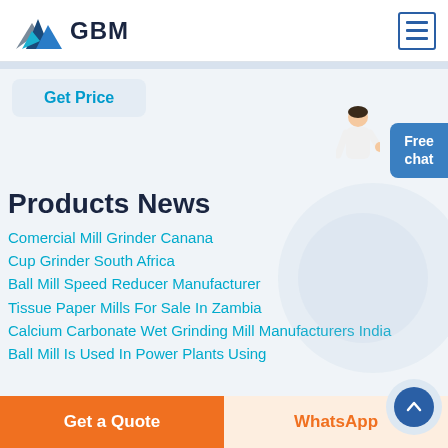[Figure (logo): GBM logo with blue mountain/arrow graphic and bold text 'GBM']
[Figure (other): Hamburger menu icon with three horizontal lines inside a blue-bordered square]
Get Price
Products News
Comercial Mill Grinder Canana
Cup Grinder South Africa
Ball Mill Speed Reducer Manufacturer
Tissue Paper Mills For Sale In Zambia
Calcium Carbonate Wet Grinding Mill Manufacturers India
Ball Mill Is Used In Power Plants Using
Free chat
Get a Quote
WhatsApp